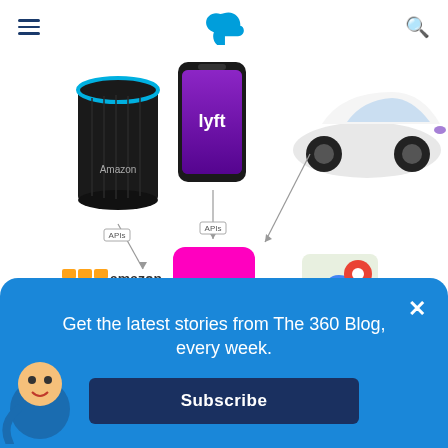Salesforce 360 Blog — hamburger menu, Salesforce cloud logo, search icon
[Figure (infographic): Diagram showing APIs involved in ordering a rideshare from a smart speaker. Amazon Echo (Alexa) device connects via API to Amazon Web Services logo. A Lyft app phone screen connects via API to the Lyft logo (pink square). A white Tesla-like car connects via API to the Lyft logo. The Lyft logo connects via API to Google Maps logo. Labels: API appear on connector lines.]
Some of the APIs involved in ordering rideshare from a smart speaker
Influenced by this cross-organizational web
Get the latest stories from The 360 Blog, every week.
Subscribe